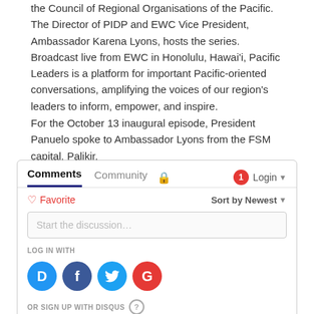the Council of Regional Organisations of the Pacific. The Director of PIDP and EWC Vice President, Ambassador Karena Lyons, hosts the series. Broadcast live from EWC in Honolulu, Hawai'i, Pacific Leaders is a platform for important Pacific-oriented conversations, amplifying the voices of our region's leaders to inform, empower, and inspire.
For the October 13 inaugural episode, President Panuelo spoke to Ambassador Lyons from the FSM capital, Palikir.
[Figure (screenshot): Disqus comments widget showing tabs for Comments and Community, lock icon, notification badge (1), Login button, Favorite and Sort by Newest controls, Start the discussion input, LOG IN WITH social login icons (Disqus, Facebook, Twitter, Google), OR SIGN UP WITH DISQUS help icon, and a Name input field.]